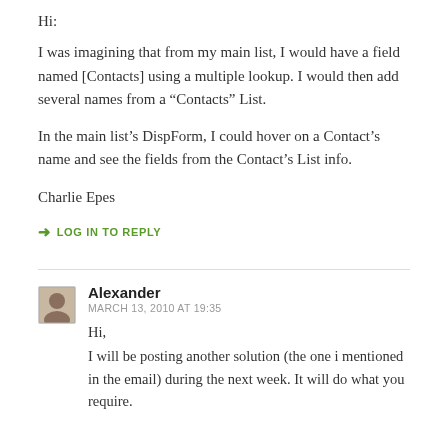Hi:
I was imagining that from my main list, I would have a field named [Contacts] using a multiple lookup. I would then add several names from a “Contacts” List.
In the main list’s DispForm, I could hover on a Contact’s name and see the fields from the Contact’s List info.
Charlie Epes
➜ LOG IN TO REPLY
Alexander
MARCH 13, 2010 AT 19:35
Hi,
I will be posting another solution (the one i mentioned in the email) during the next week. It will do what you require.